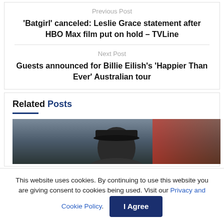Previous Post
'Batgirl' canceled: Leslie Grace statement after HBO Max film put on hold – TVLine
Next Post
Guests announced for Billie Eilish's 'Happier Than Ever' Australian tour
Related Posts
[Figure (photo): Person wearing a black baseball cap, outdoors with red flowers in background]
This website uses cookies. By continuing to use this website you are giving consent to cookies being used. Visit our Privacy and Cookie Policy.